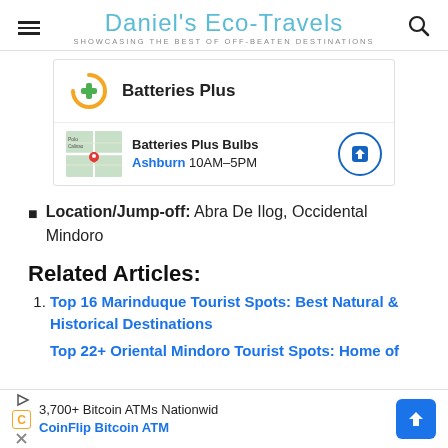Daniel's Eco-Travels — SHOWCASING THE BEST OF OFF-BEATEN DESTINATIONS
[Figure (screenshot): Advertisement for Batteries Plus showing logo at top and Batteries Plus Bulbs map location in Ashburn 10AM-5PM with navigation arrow]
Location/Jump-off: Abra De Ilog, Occidental Mindoro
Related Articles:
Top 16 Marinduque Tourist Spots: Best Natural & Historical Destinations
Top 22+ Oriental Mindoro Tourist Spots: Home of
[Figure (screenshot): Bottom advertisement for CoinFlip Bitcoin ATM — 3,700+ Bitcoin ATMs Nationwide]